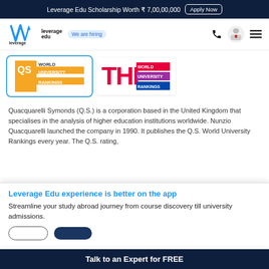Leverage Edu Scholarship Worth ₹ 7,00,00,000  Apply Now
[Figure (logo): Leverage Edu logo with 'We are hiring' badge, navigation icons]
[Figure (logo): QS World University Rankings logo in a blue-bordered box alongside THE World University Rankings logo]
Quacquarelli Symonds (Q.S.) is a corporation based in the United Kingdom that specialises in the analysis of higher education institutions worldwide. Nunzio Quacquarelli launched the company in 1990. It publishes the Q.S. World University Rankings every year. The Q.S. rating,
Leverage Edu experience is better on the app
Streamline your study abroad journey from course discovery till university admissions.
Talk to an Expert for FREE